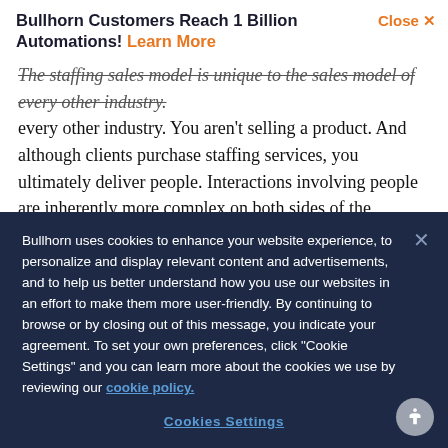Bullhorn Customers Reach 1 Billion Automations! Learn More  Close X
The staffing sales model is unique to the sales model of every other industry. You aren't selling a product. And although clients purchase staffing services, you ultimately deliver people. Interactions involving people are inherently more complex on both sides of the transaction...
Bullhorn uses cookies to enhance your website experience, to personalize and display relevant content and advertisements, and to help us better understand how you use our websites in an effort to make them more user-friendly. By continuing to browse or by closing out of this message, you indicate your agreement. To set your own preferences, click "Cookie Settings" and you can learn more about the cookies we use by reviewing our cookie policy.
Cookies Settings